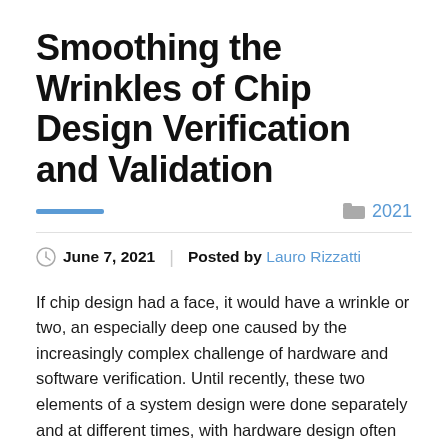Smoothing the Wrinkles of Chip Design Verification and Validation
2021
June 7, 2021  Posted by Lauro Rizzatti
If chip design had a face, it would have a wrinkle or two, an especially deep one caused by the increasingly complex challenge of hardware and software verification. Until recently, these two elements of a system design were done separately and at different times, with hardware design often beginning way